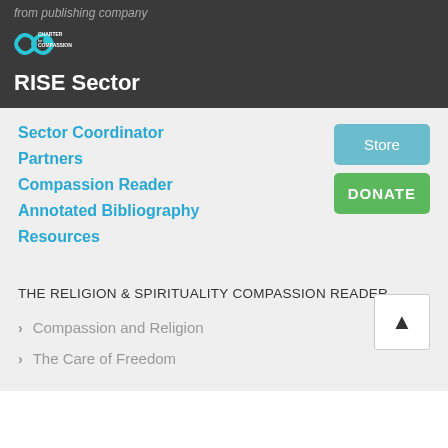from publishing company
[Figure (logo): Charter for Compassion infinity loop logo with text CHARTER for COMPASSION]
RISE Sector
Sector Coordinator
Partners
Compassion Reader
Annotated Bibliography
Resources
THE RELIGION & SPIRITUALITY COMPASSION READER
Compassion and Religion
The Care of Freedom